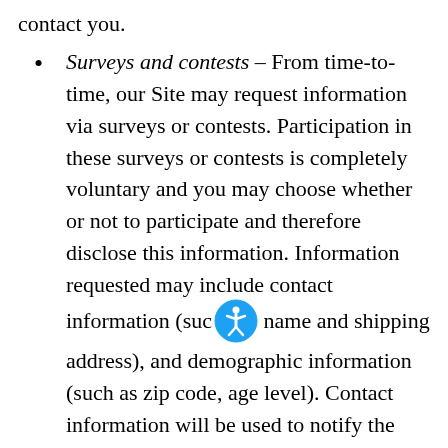contact you.
Surveys and contests – From time-to-time, our Site may request information via surveys or contests. Participation in these surveys or contests is completely voluntary and you may choose whether or not to participate and therefore disclose this information. Information requested may include contact information (such as name and shipping address), and demographic information (such as zip code, age level). Contact information will be used to notify the winners and award prizes. Survey information will be used for purposes of monitoring or improving the use and satisfaction of this Site.
Customer Service – Unless you ask us not to...